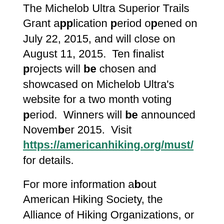The Michelob Ultra Superior Trails Grant application period opened on July 22, 2015, and will close on August 11, 2015.  Ten finalist projects will be chosen and showcased on Michelob Ultra's website for a two month voting period.  Winners will be announced November 2015.  Visit https://americanhiking.org/must/ for details.
For more information about American Hiking Society, the Alliance of Hiking Organizations, or the National Trails Fund, please visit americanhiking.org or call (301) 565-6704.
About American Hiking Society
Founded in 1976, American Hiking Society is the only national, recreation-based nonprofit organization dedicated to promoting and protecting America's hiking trails, their surrounding natural areas and the hiking experience. To learn more about American Hiking